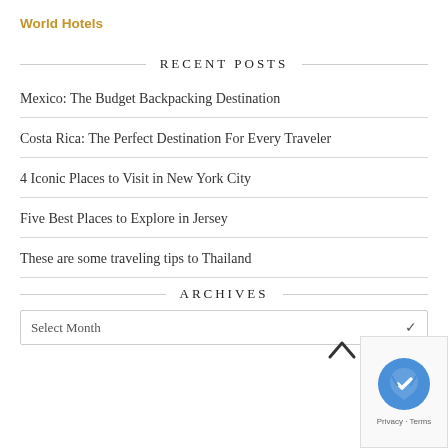World Hotels
RECENT POSTS
Mexico: The Budget Backpacking Destination
Costa Rica: The Perfect Destination For Every Traveler
4 Iconic Places to Visit in New York City
Five Best Places to Explore in Jersey
These are some traveling tips to Thailand
ARCHIVES